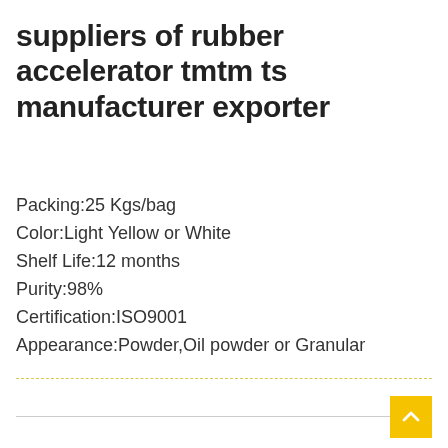suppliers of rubber accelerator tmtm ts manufacturer exporter
Packing:25 Kgs/bag
Color:Light Yellow or White
Shelf Life:12 months
Purity:98%
Certification:ISO9001
Appearance:Powder,Oil powder or Granular